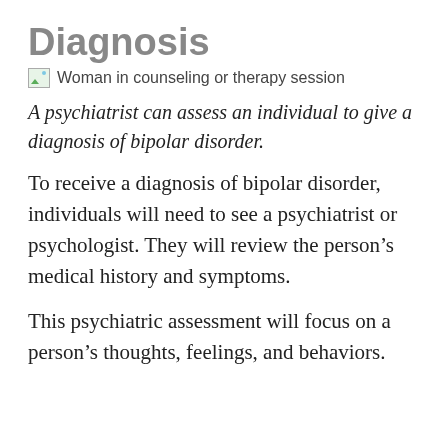Diagnosis
[Figure (photo): Woman in counseling or therapy session]
A psychiatrist can assess an individual to give a diagnosis of bipolar disorder.
To receive a diagnosis of bipolar disorder, individuals will need to see a psychiatrist or psychologist. They will review the person's medical history and symptoms.
This psychiatric assessment will focus on a person's thoughts, feelings, and behaviors.